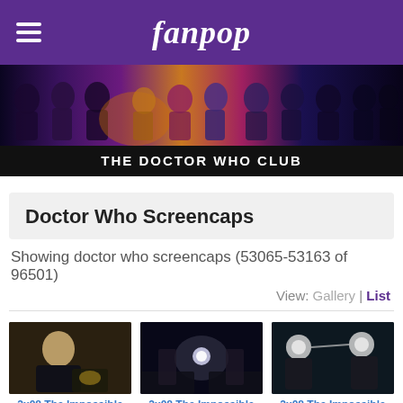fanpop
[Figure (photo): Doctor Who cast collage banner strip]
THE DOCTOR WHO CLUB
Doctor Who Screencaps
Showing doctor who screencaps (53065-53163 of 96501)
View: Gallery | List
[Figure (photo): 2x08 The Impossible Planet screencap - man in black uniform]
2x08 The Impossible Planet
submitted by Kaidi
[Figure (photo): 2x08 The Impossible Planet screencap - group scene with lights]
2x08 The Impossible Planet
submitted by Kaidi
[Figure (photo): 2x08 The Impossible Planet screencap - Ood creatures]
2x08 The Impossible Planet
submitted by Kaidi
[Figure (photo): Bottom row left screencap - corridor scene]
[Figure (photo): Bottom row center screencap - man looking surprised]
[Figure (photo): Bottom row right screencap - dark scene with glowing helmet]